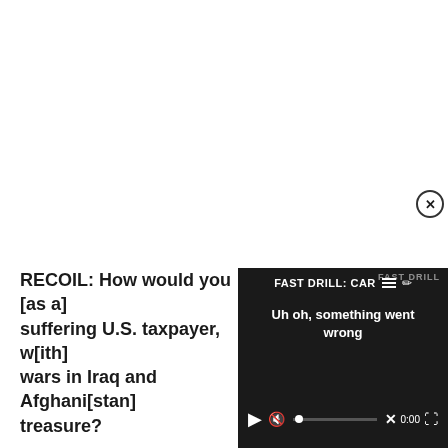RECOIL: How would you [as a] suffering U.S. taxpayer, w[ith] wars in Iraq and Afghani[stan] treasure?
[Figure (screenshot): Video player overlay showing 'FAST DRILL: CAR' title with hamburger menu icon and pencil icon, error message 'Uh oh, something went wrong', mute button, progress bar with dot, X close icon, 0:00 timestamp, and fullscreen button. Dark background with white text.]